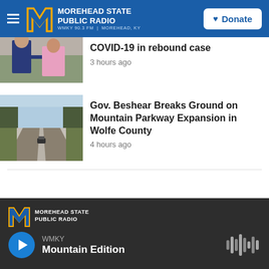Morehead State Public Radio — WMKY 90.3 FM | Morehead, KY
COVID-19 in rebound case
3 hours ago
Gov. Beshear Breaks Ground on Mountain Parkway Expansion in Wolfe County
4 hours ago
WMKY — Mountain Edition